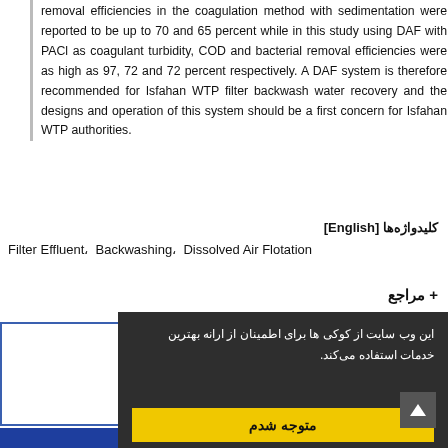removal efficiencies in the coagulation method with sedimentation were reported to be up to 70 and 65 percent while in this study using DAF with PACl as coagulant turbidity, COD and bacterial removal efficiencies were as high as 97, 72 and 72 percent respectively. A DAF system is therefore recommended for Isfahan WTP filter backwash water recovery and the designs and operation of this system should be a first concern for Isfahan WTP authorities.
کلیدواژه‌ها [English]
Filter Effluent،  Backwashing،  Dissolved Air Flotation
+ مراجع
شماره پیاپی 3 ... 1399 ... 14-30 صفحه
این وب سایت از کوکی ها برای اطمینان از ارانه بهترین خدمات استفاده می‌کند.
متوجه شدم